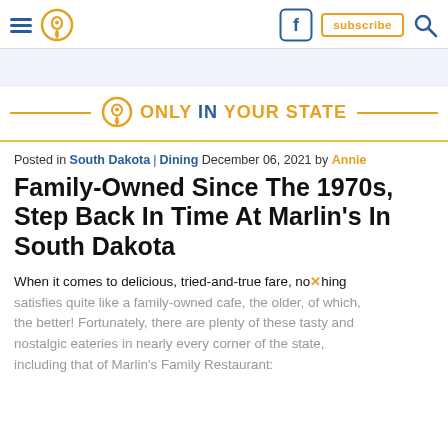Only In Your State - navigation header with hamburger menu, location icon, Facebook icon, subscribe button, and search icon
[Figure (logo): Only In Your State logo with location pin icon, text reading ONLY IN YOUR STATE with flanking gold horizontal lines]
Posted in South Dakota | Dining December 06, 2021 by Annie
Family-Owned Since The 1970s, Step Back In Time At Marlin’s In South Dakota
When it comes to delicious, tried-and-true fare, nothing satisfies quite like a family-owned cafe, the older, of which, the better! Fortunately, there are plenty of these tasty and nostalgic eateries in nearly every corner of the state, including that of Marlin’s Family Restaurant: